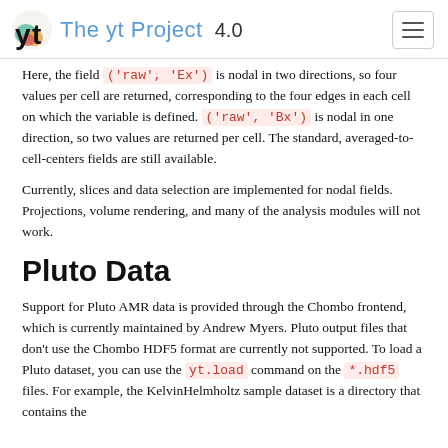The yt Project 4.0
Here, the field ('raw', 'Ex') is nodal in two directions, so four values per cell are returned, corresponding to the four edges in each cell on which the variable is defined. ('raw', 'Bx') is nodal in one direction, so two values are returned per cell. The standard, averaged-to-cell-centers fields are still available.
Currently, slices and data selection are implemented for nodal fields. Projections, volume rendering, and many of the analysis modules will not work.
Pluto Data
Support for Pluto AMR data is provided through the Chombo frontend, which is currently maintained by Andrew Myers. Pluto output files that don’t use the Chombo HDF5 format are currently not supported. To load a Pluto dataset, you can use the yt.load command on the *.hdf5 files. For example, the KelvinHelmholtz sample dataset is a directory that contains the